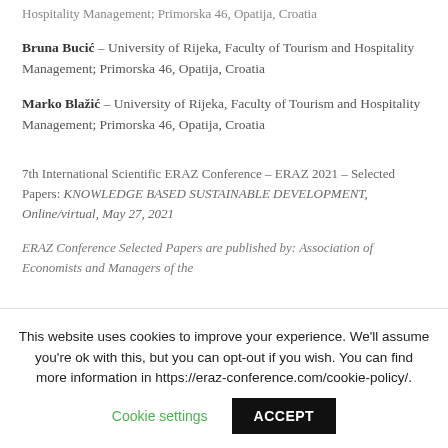Hospitality Management; Primorska 46, Opatija, Croatia
Bruna Bucić – University of Rijeka, Faculty of Tourism and Hospitality Management; Primorska 46, Opatija, Croatia
Marko Blažić – University of Rijeka, Faculty of Tourism and Hospitality Management; Primorska 46, Opatija, Croatia
7th International Scientific ERAZ Conference – ERAZ 2021 – Selected Papers: KNOWLEDGE BASED SUSTAINABLE DEVELOPMENT, Online/virtual, May 27, 2021
ERAZ Conference Selected Papers are published by: Association of Economists and Managers of the
This website uses cookies to improve your experience. We'll assume you're ok with this, but you can opt-out if you wish. You can find more information in https://eraz-conference.com/cookie-policy/.